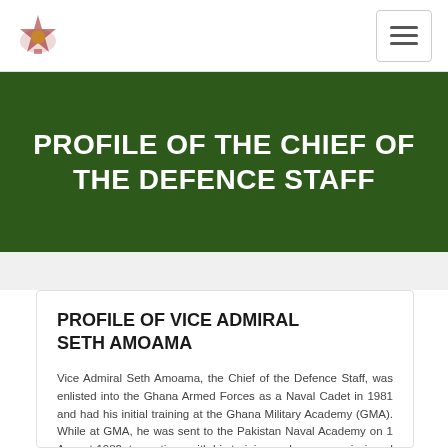Navigation bar with logo and hamburger menu
PROFILE OF THE CHIEF OF THE DEFENCE STAFF
PROFILE OF VICE ADMIRAL SETH AMOAMA
Vice Admiral Seth Amoama, the Chief of the Defence Staff, was enlisted into the Ghana Armed Forces as a Naval Cadet in 1981 and had his initial training at the Ghana Military Academy (GMA). While at GMA, he was sent to the Pakistan Naval Academy on 1 August 1982, to continue with his training and was commissioned into the